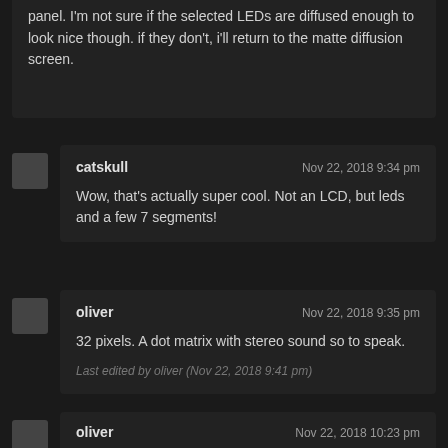panel. I'm not sure if the selected LEDs are diffused enough to look nice though. if they don't, i'll return to the matte diffusion screen.
catskull — Nov 22, 2018 9:34 pm
Wow, that's actually super cool. Not an LCD, but leds and a few 7 segments!
oliver — Nov 22, 2018 9:35 pm
32 pixels. A dot matrix with stereo sound so to speak.
Last edited by oliver (Nov 22, 2018 9:41 pm)
oliver — Nov 22, 2018 10:23 pm